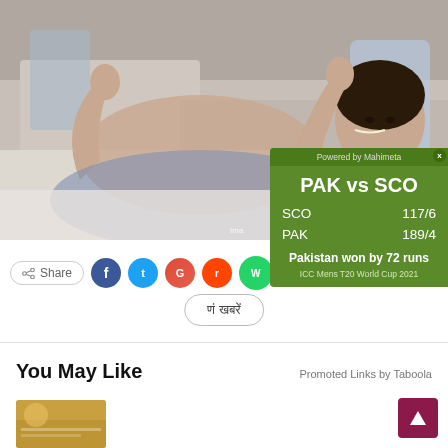[Figure (photo): A woman lying in a hospital bed with nasal oxygen tube, hands raised in a gesture, hospital equipment visible in background]
[Figure (infographic): Cricket score widget - PAK vs SCO, SCO 117/6, PAK 189/4, Pakistan won by 72 runs, ICC Mens T20 World Cup 2021, Powered by Mahimeta]
Share
यह खबर
You May Like
Promoted Links by Taboola
[Figure (photo): Partially visible promotional image strip at bottom]